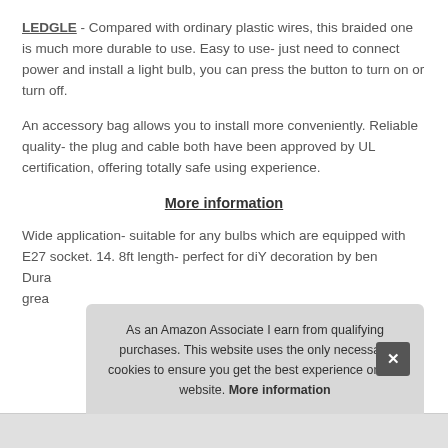LEDGLE - Compared with ordinary plastic wires, this braided one is much more durable to use. Easy to use- just need to connect power and install a light bulb, you can press the button to turn on or turn off.
An accessory bag allows you to install more conveniently. Reliable quality- the plug and cable both have been approved by UL certification, offering totally safe using experience.
More information
Wide application- suitable for any bulbs which are equipped with E27 socket. 14. 8ft length- perfect for diY decoration by ben Dura grea
As an Amazon Associate I earn from qualifying purchases. This website uses the only necessary cookies to ensure you get the best experience on our website. More information